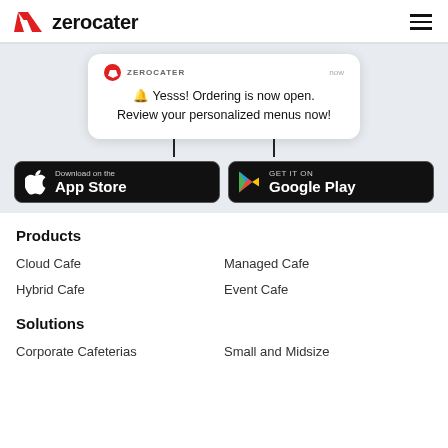[Figure (logo): Zerocater logo with red checkmark icon and wordmark 'zerocater']
[Figure (screenshot): Mobile push notification card from ZEROCATER reading: 🔔 Yesss! Ordering is now open. Review your personalized menus now!]
[Figure (illustration): Download on the App Store button (black, Apple logo)]
[Figure (illustration): GET IT ON Google Play button (black, Google Play logo)]
Products
Cloud Cafe
Managed Cafe
Hybrid Cafe
Event Cafe
Solutions
Corporate Cafeterias
Small and Midsize